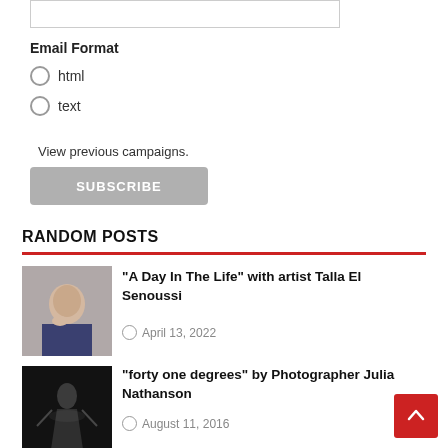Email Format
html
text
View previous campaigns.
SUBSCRIBE
RANDOM POSTS
[Figure (photo): Photo of a woman artist, Talla El Senoussi]
“A Day In The Life” with artist Talla El Senoussi
April 13, 2022
[Figure (photo): Dark concert photo for forty one degrees by Photographer Julia Nathanson]
“forty one degrees” by Photographer Julia Nathanson
August 11, 2016